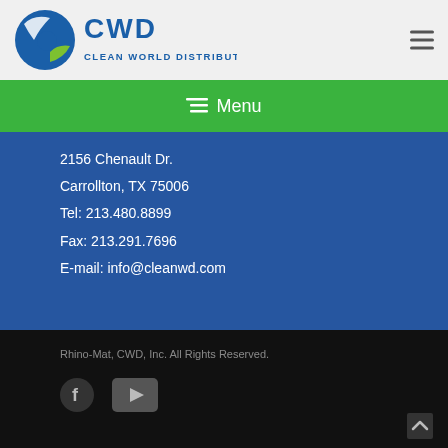[Figure (logo): CWD Clean World Distribution, Inc. logo with blue and green globe icon]
Menu
2156 Chenault Dr.
Carrollton, TX 75006
Tel: 213.480.8899
Fax: 213.291.7696
E-mail: info@cleanwd.com
Rhino-Mat, CWD, Inc. All Rights Reserved.
[Figure (illustration): Facebook and YouTube social media icons]